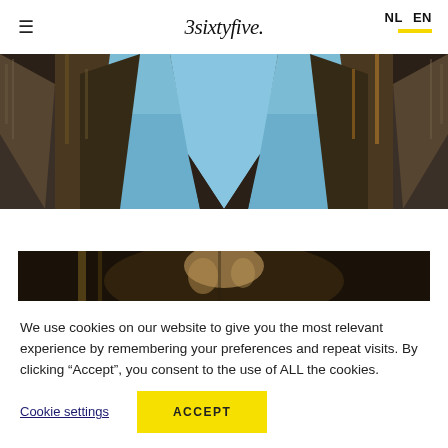3sixtyfive. NL EN
[Figure (photo): Upward view of tall glass skyscrapers against a blue sky, forming an X-shape.]
[Figure (photo): Partial view of a person's face, cropped, dark background.]
We use cookies on our website to give you the most relevant experience by remembering your preferences and repeat visits. By clicking “Accept”, you consent to the use of ALL the cookies.
Cookie settings   ACCEPT